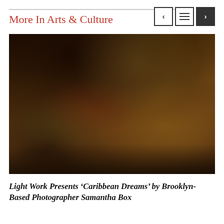More In Arts & Culture
[Figure (photo): A dark, moody still life photograph showing a person eating a small fruit, surrounded by an abundance of tropical fruits (mangoes, avocados, bananas, pomegranate, lemons), flowers in a vase, packaged goods, and vegetables arranged on a table, reminiscent of Old Masters still life painting style.]
Light Work Presents ‘Caribbean Dreams’ by Brooklyn-Based Photographer Samantha Box